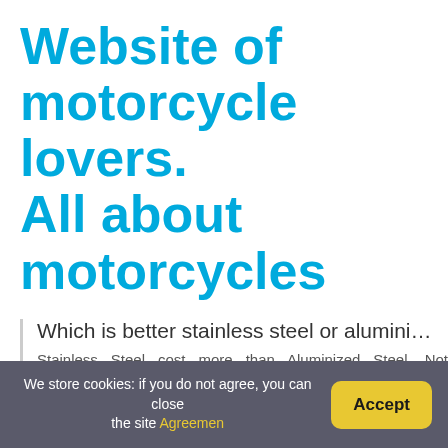Website of motorcycle lovers. All about motorcycles
Which is better stainless steel or alumini...
Stainless Steel cost more than Aluminized Steel. Not aluminized mufflers have stainless internals and necks has only a protective coating that, if scratched off, may r...
We store cookies: if you do not agree, you can close the site Agreement